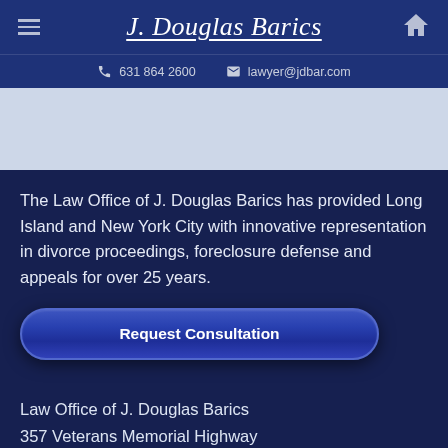J. Douglas Barics
631 864 2600   lawyer@jdbar.com
The Law Office of J. Douglas Barics has provided Long Island and New York City with innovative representation in divorce proceedings, foreclosure defense and appeals for over 25 years.
Request Consultation
Law Office of J. Douglas Barics
357 Veterans Memorial Highway